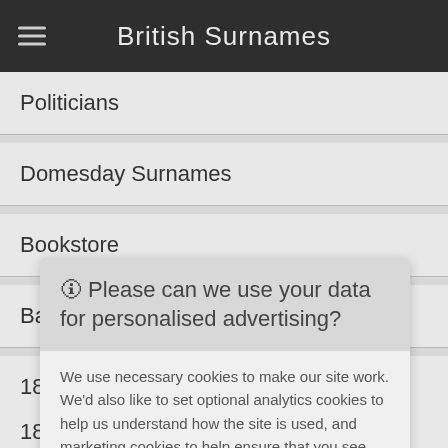British Surnames
Politicians
Domesday Surnames
Bookstore
Background Reading
1881 Census FAQ
1881 Census Occupations
🛈 Please can we use your data for personalised advertising?
We use necessary cookies to make our site work. We'd also like to set optional analytics cookies to help us understand how the site is used, and marketing cookies to help ensure that you see relevant advertising. You can allow all cookies or manage them individually.
More information
Accept Cookies
Customise Cookies